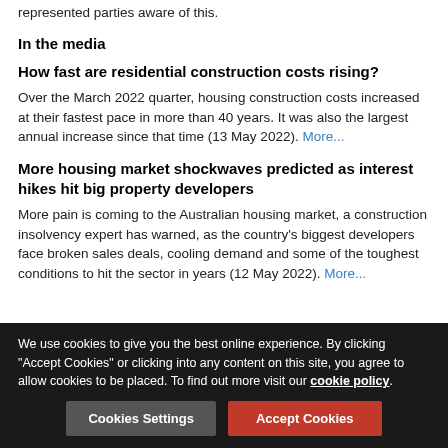represented parties aware of this.
In the media
How fast are residential construction costs rising?
Over the March 2022 quarter, housing construction costs increased at their fastest pace in more than 40 years. It was also the largest annual increase since that time (13 May 2022). More...
More housing market shockwaves predicted as interest hikes hit big property developers
More pain is coming to the Australian housing market, a construction insolvency expert has warned, as the country's biggest developers face broken sales deals, cooling demand and some of the toughest conditions to hit the sector in years (12 May 2022). More...
We use cookies to give you the best online experience. By clicking "Accept Cookies" or clicking into any content on this site, you agree to allow cookies to be placed. To find out more visit our cookie policy.